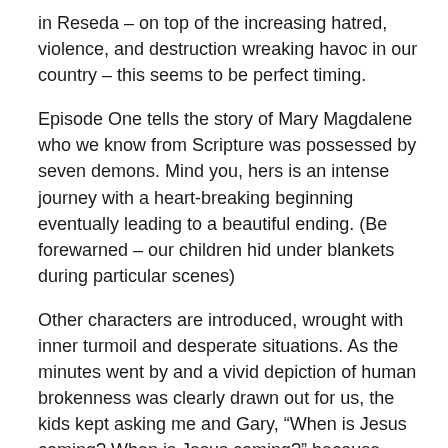in Reseda – on top of the increasing hatred, violence, and destruction wreaking havoc in our country – this seems to be perfect timing.
Episode One tells the story of Mary Magdalene who we know from Scripture was possessed by seven demons. Mind you, hers is an intense journey with a heart-breaking beginning eventually leading to a beautiful ending. (Be forewarned – our children hid under blankets during particular scenes)
Other characters are introduced, wrought with inner turmoil and desperate situations. As the minutes went by and a vivid depiction of human brokenness was clearly drawn out for us, the kids kept asking me and Gary, “When is Jesus coming? When is Jesus coming?” because they know by both knowledge and experience that Jesus makes everything better. When the Lord finally makes His presence known, there is a spark of hope and a torrent of tears upon seeing